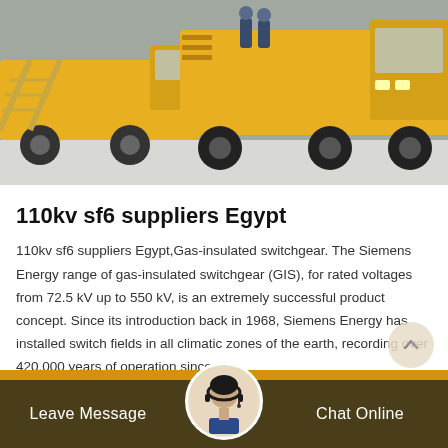[Figure (photo): Yellow construction/utility trucks on a snowy surface, with a ramp visible on the left truck and workers in blue uniforms visible in background.]
110kv sf6 suppliers Egypt
110kv sf6 suppliers Egypt,Gas-insulated switchgear. The Siemens Energy range of gas-insulated switchgear (GIS), for rated voltages from 72.5 kV up to 550 kV, is an extremely successful product concept. Since its introduction back in 1968, Siemens Energy has installed switch fields in all climatic zones of the earth, recording over 420,000 years of operation since.
Leave Message   Chat Online